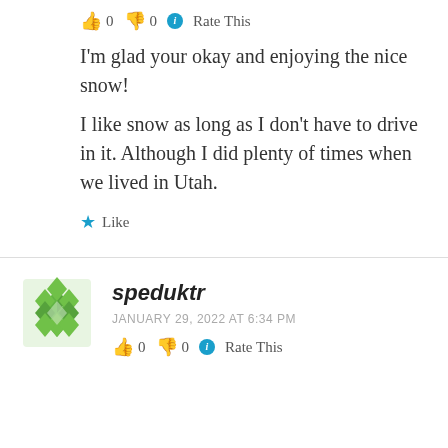👍 0 👎 0 ℹ Rate This
I'm glad your okay and enjoying the nice snow!
I like snow as long as I don't have to drive in it. Although I did plenty of times when we lived in Utah.
★ Like
speduktr
JANUARY 29, 2022 AT 6:34 PM
👍 0 👎 0 ℹ Rate This